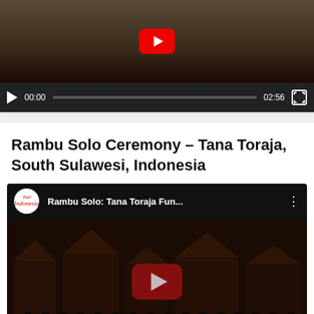[Figure (screenshot): YouTube video player (top, partially visible) showing a darkened thumbnail of an elderly person, with red YouTube play button overlay, video control bar showing 00:00 timestamp, progress bar, 02:56 duration, and fullscreen button on dark background.]
Rambu Solo Ceremony – Tana Toraja, South Sulawesi, Indonesia
[Figure (screenshot): Embedded YouTube video player for 'Rambu Solo: Tana Toraja Fun...' by Tapi Indonesia channel. Shows channel avatar (circular white logo with red script text), video title, three-dot menu. Thumbnail shows a dark aerial/wide shot of traditional Torajan architecture and a large group of people in black attire. Large dark red YouTube play button in center. Control bar shows 00:00, progress track, 03:18 duration, and fullscreen button. Green chat bubble button overlaid at bottom right.]